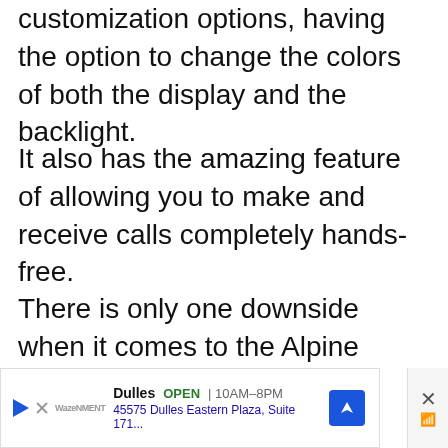customization options, having the option to change the colors of both the display and the backlight.
It also has the amazing feature of allowing you to make and receive calls completely hands-free.
There is only one downside when it comes to the Alpine CDE-172BT, and that is the limited number of ports that it has to offer.
If you want to have the option to connect a lot of different devices to your stereo, then you should look elsewhere.
[Figure (other): Advertisement banner for Dulles store showing OPEN 10AM-8PM with address 45575 Dulles Eastern Plaza, Suite 171... and a blue navigation arrow icon, with a close (X) button and wifi/signal icon on the right]